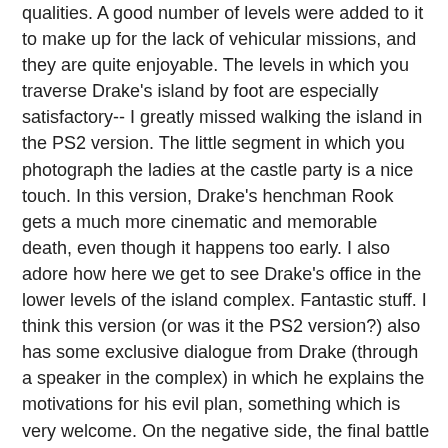qualities. A good number of levels were added to it to make up for the lack of vehicular missions, and they are quite enjoyable. The levels in which you traverse Drake's island by foot are especially satisfactory-- I greatly missed walking the island in the PS2 version. The little segment in which you photograph the ladies at the castle party is a nice touch. In this version, Drake's henchman Rook gets a much more cinematic and memorable death, even though it happens too early. I also adore how here we get to see Drake's office in the lower levels of the island complex. Fantastic stuff. I think this version (or was it the PS2 version?) also has some exclusive dialogue from Drake (through a speaker in the complex) in which he explains the motivations for his evil plan, something which is very welcome. On the negative side, the final battle with Drake is not as interesting as the PS2 one, and the worst sin of them all: the level in which you escape from the Phoenix building in Japan has been extended so much that it becomes very, very frustrating and tedious.
There is a fan-made Nightfire project waiting to happen that should combine the PC and PS2 levels into a single experience. I love this game. We need more games like this.